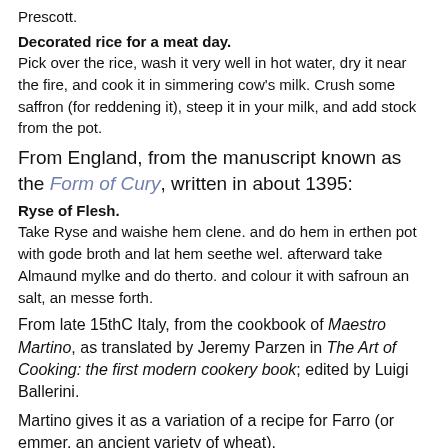Prescott.
Decorated rice for a meat day.
Pick over the rice, wash it very well in hot water, dry it near the fire, and cook it in simmering cow's milk. Crush some saffron (for reddening it), steep it in your milk, and add stock from the pot.
From England, from the manuscript known as the Form of Cury, written in about 1395:
Ryse of Flesh.
Take Ryse and waishe hem clene. and do hem in erthen pot with gode broth and lat hem seethe wel. afterward take Almaund mylke and do therto. and colour it with safroun an salt, an messe forth.
From late 15thC Italy, from the cookbook of Maestro Martino, as translated by Jeremy Parzen in The Art of Cooking: the first modern cookery book; edited by Luigi Ballerini.
Martino gives it as a variation of a recipe for Farro (or emmer, an ancient variety of wheat).